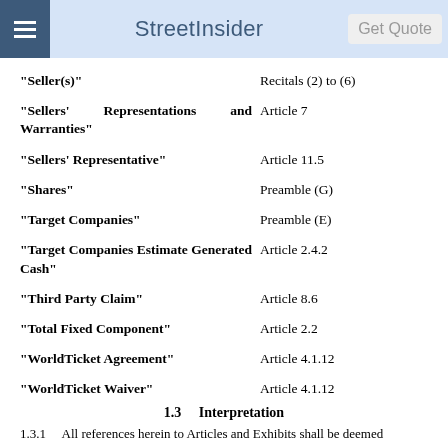StreetInsider | Get Quote
"Seller(s)" — Recitals (2) to (6)
"Sellers' Representations and Warranties" — Article 7
"Sellers' Representative" — Article 11.5
"Shares" — Preamble (G)
"Target Companies" — Preamble (E)
"Target Companies Estimate Generated Cash" — Article 2.4.2
"Third Party Claim" — Article 8.6
"Total Fixed Component" — Article 2.2
"WorldTicket Agreement" — Article 4.1.12
"WorldTicket Waiver" — Article 4.1.12
1.3     Interpretation
1.3.1     All references herein to Articles and Exhibits shall be deemed